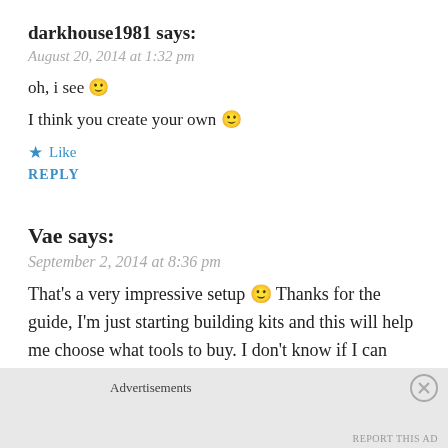darkhouse1981 says:
August 20, 2014 at 1:32 pm
oh, i see 🙂
I think you create your own 🙂
★ Like
REPLY
Vae says:
September 2, 2014 at 8:36 pm
That's a very impressive setup 🙂 Thanks for the guide, I'm just starting building kits and this will help me choose what tools to buy. I don't know if I can easily find those products in my country, though...
★ Like
Advertisements